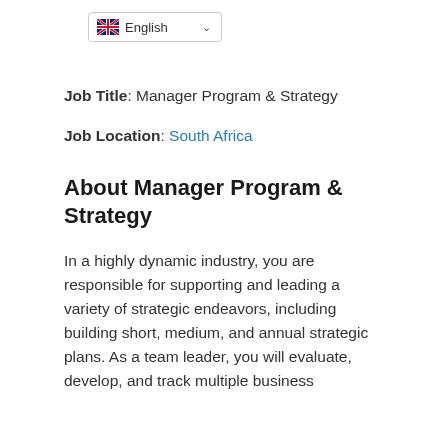[Figure (screenshot): Language selector dropdown showing UK flag and 'English' with a chevron arrow]
Job Title: Manager Program & Strategy
Job Location: South Africa
About Manager Program & Strategy
In a highly dynamic industry, you are responsible for supporting and leading a variety of strategic endeavors, including building short, medium, and annual strategic plans. As a team leader, you will evaluate, develop, and track multiple business